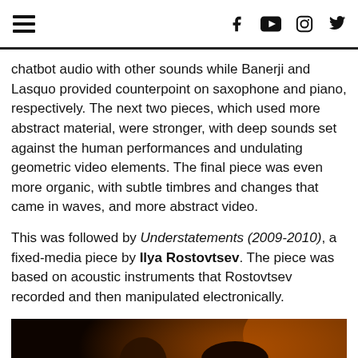Navigation and social media icons bar
chatbot audio with other sounds while Banerji and Lasquo provided counterpoint on saxophone and piano, respectively. The next two pieces, which used more abstract material, were stronger, with deep sounds set against the human performances and undulating geometric video elements. The final piece was even more organic, with subtle timbres and changes that came in waves, and more abstract video.
This was followed by Understatements (2009-2010), a fixed-media piece by Ilya Rostovtsev. The piece was based on acoustic instruments that Rostovtsev recorded and then manipulated electronically.
[Figure (photo): A young man with glasses sitting and playing or operating equipment in a dark performance venue, with another person visible in the background. Warm orange ambient lighting.]